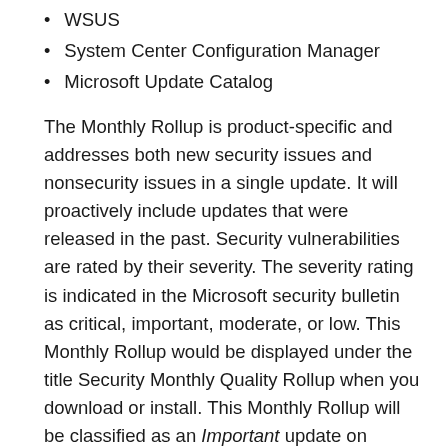WSUS
System Center Configuration Manager
Microsoft Update Catalog
The Monthly Rollup is product-specific and addresses both new security issues and nonsecurity issues in a single update. It will proactively include updates that were released in the past. Security vulnerabilities are rated by their severity. The severity rating is indicated in the Microsoft security bulletin as critical, important, moderate, or low. This Monthly Rollup would be displayed under the title Security Monthly Quality Rollup when you download or install. This Monthly Rollup will be classified as an Important update on Windows Update. It will automatically download and install if your Windows Update settings are configured to automatically download and install Important updates.
Reviews of Monthly Roll...